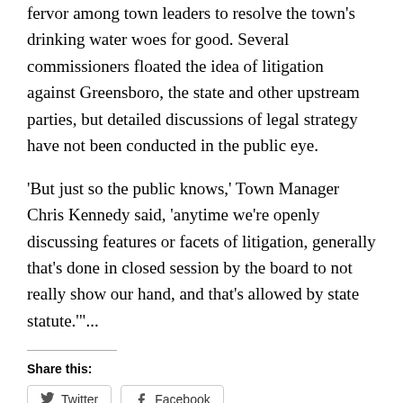fervor among town leaders to resolve the town's drinking water woes for good. Several commissioners floated the idea of litigation against Greensboro, the state and other upstream parties, but detailed discussions of legal strategy have not been conducted in the public eye.
‘But just so the public knows,’ Town Manager Chris Kennedy said, ‘anytime we’re openly discussing features or facets of litigation, generally that’s done in closed session by the board to not really show our hand, and that’s allowed by state statute.’”...
Share this:
[Figure (other): Twitter and Facebook share buttons]